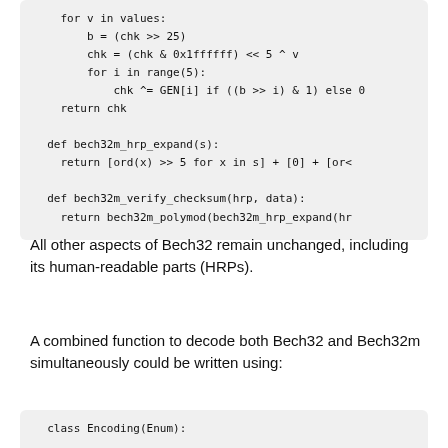[Figure (screenshot): Python code block showing bech32m polymod, hrp_expand, verify_checksum, and create_checksum functions]
All other aspects of Bech32 remain unchanged, including its human-readable parts (HRPs).
A combined function to decode both Bech32 and Bech32m simultaneously could be written using:
[Figure (screenshot): Start of Python code block showing class Encoding(Enum):]